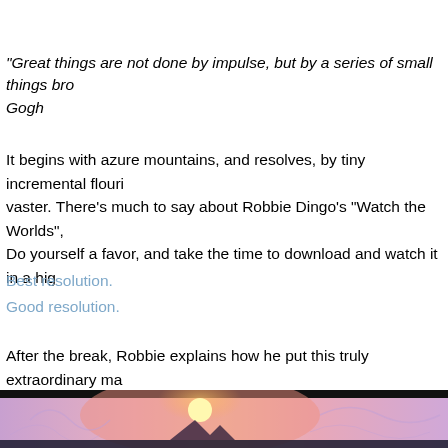"Great things are not done by impulse, but by a series of small things brought together." - Van Gogh
It begins with azure mountains, and resolves, by tiny incremental flourishes, into something vaster. There's much to say about Robbie Dingo's "Watch the Worlds", and little needs saying. Do yourself a favor, and take the time to download and watch it in a high resolution.
Best resolution.
Good resolution.
After the break, Robbie explains how he put this truly extraordinary ma
[Figure (illustration): A colorful digital art image showing a purple and pink sky with a bright sun/moon, with swirling patterns and a dark silhouetted landscape at the bottom. This appears to be a screenshot from a virtual world or machinima.]